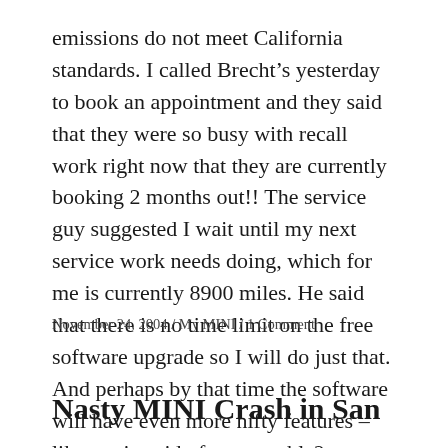emissions do not meet California standards. I called Brecht's yesterday to book an appointment and they said that they were so busy with recall work right now that they are currently booking 2 months out!! The service guy suggested I wait until my next service work needs doing, which for me is currently 8900 miles. He said that there is no time limit on the free software upgrade so I will do just that. And perhaps by that time the software will have even more nifty features – like getting rid of my stumble?
November 24, 2004 / My MINI / 1 Comment
Nasty MINI Crash in San